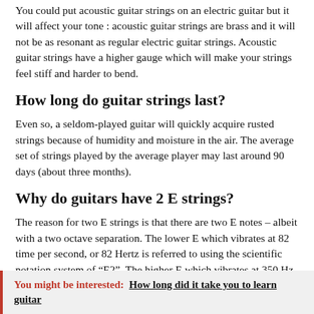You could put acoustic guitar strings on an electric guitar but it will affect your tone : acoustic guitar strings are brass and it will not be as resonant as regular electric guitar strings. Acoustic guitar strings have a higher gauge which will make your strings feel stiff and harder to bend.
How long do guitar strings last?
Even so, a seldom-played guitar will quickly acquire rusted strings because of humidity and moisture in the air. The average set of strings played by the average player may last around 90 days (about three months).
Why do guitars have 2 E strings?
The reason for two E strings is that there are two E notes – albeit with a two octave separation. The lower E which vibrates at 82 time per second, or 82 Hertz is referred to using the scientific notation system of “E2”. The higher E which vibrates at 350 Hz is “scientific E4”.
You might be interested:  How long did it take you to learn guitar